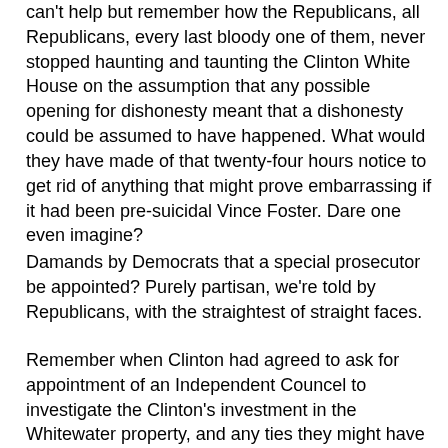can't help but remember how the Republicans, all Republicans, every last bloody one of them, never stopped haunting and taunting the Clinton White House on the assumption that any possible opening for dishonesty meant that a dishonesty could be assumed to have happened. What would they have made of that twenty-four hours notice to get rid of anything that might prove embarrassing if it had been pre-suicidal Vince Foster. Dare one even imagine?
Damands by Democrats that a special prosecutor be appointed? Purely partisan, we're told by Republicans, with the straightest of straight faces.
Remember when Clinton had agreed to ask for appointment of an Independent Councel to investigate the Clinton's investment in the Whitewater property, and any ties they might have had to Madison Guarantee, despite the fact that all of that was under investigation by the RTC, and AG Reno consulted with congressional Republicans before appointing, with their approval, a Republican independent councel, and once the Independent Councel Act was reauthorized, Republicans demanded, and then got from a panel of